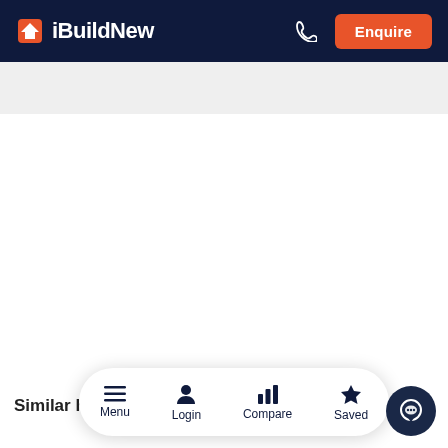iBuildNew — Enquire
Similar h...
Menu | Login | Compare | Saved